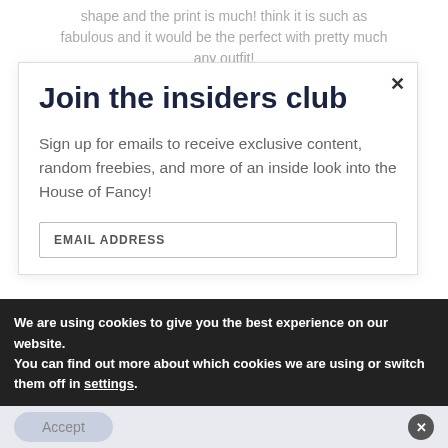shape and the print is much! think it is such as fabulous and it would be the perfect with pretty much any outfit!
Join the insiders club
Sign up for emails to receive exclusive content, random freebies, and more of an inside look into the House of Fancy!
EMAIL ADDRESS
We are using cookies to give you the best experience on our website.
You can find out more about which cookies we are using or switch them off in settings.
Accept